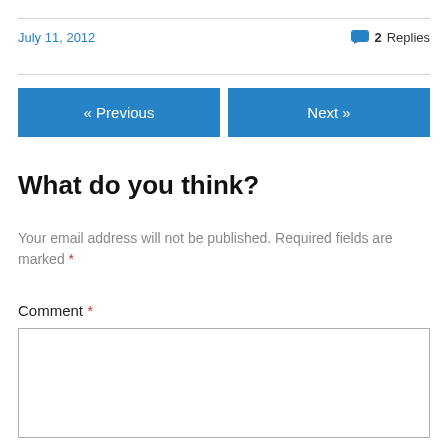July 11, 2012
2 Replies
« Previous
Next »
What do you think?
Your email address will not be published. Required fields are marked *
Comment *
[Figure (other): Empty comment text area input box]